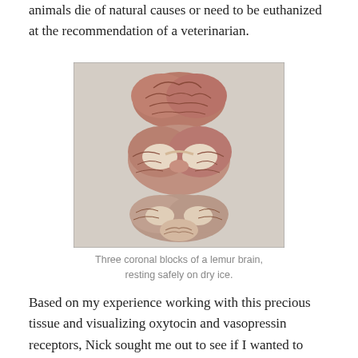animals die of natural causes or need to be euthanized at the recommendation of a veterinarian.
[Figure (photo): Three coronal blocks of a lemur brain resting on a white surface (dry ice). The top block shows the exterior of the brain, the middle shows a coronal cross-section with white matter patterns, and the bottom shows another coronal cross-section.]
Three coronal blocks of a lemur brain, resting safely on dry ice.
Based on my experience working with this precious tissue and visualizing oxytocin and vasopressin receptors, Nick sought me out to see if I wanted to start a collaboration in